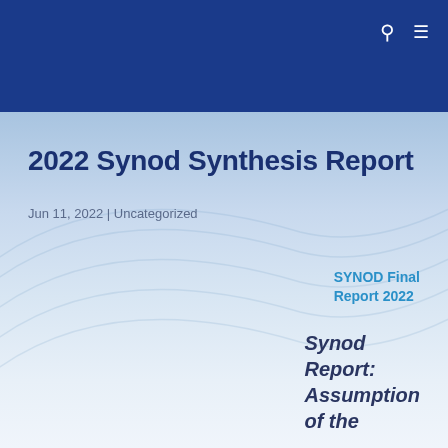2022 Synod Synthesis Report
2022 Synod Synthesis Report
Jun 11, 2022 | Uncategorized
SYNOD Final Report 2022
Synod Report: Assumption of the